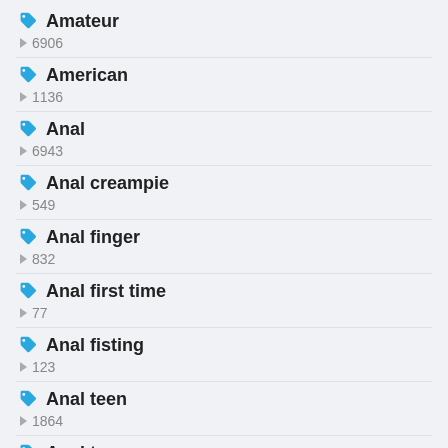Amateur · 6906
American · 1136
Anal · 6943
Anal creampie · 549
Anal finger · 832
Anal first time · 77
Anal fisting · 123
Anal teen · 1864
Anal toys · 872
Arab · 87